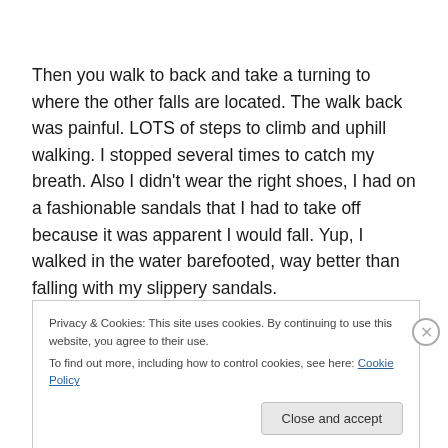Then you walk to back and take a turning to where the other falls are located. The walk back was painful. LOTS of steps to climb and uphill walking. I stopped several times to catch my breath. Also I didn't wear the right shoes, I had on a fashionable sandals that I had to take off because it was apparent I would fall. Yup, I walked in the water barefooted, way better than falling with my slippery sandals.
Privacy & Cookies: This site uses cookies. By continuing to use this website, you agree to their use.
To find out more, including how to control cookies, see here: Cookie Policy